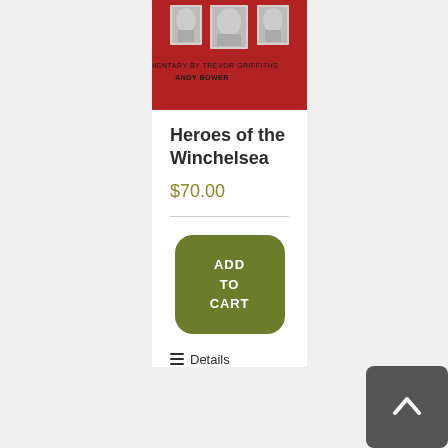[Figure (photo): Red book cover with black and white portrait photographs of people at the top, and text below the photos on the cover.]
Heroes of the Winchelsea
$70.00
[Figure (other): ADD TO CART button, olive green rounded rectangle]
Details